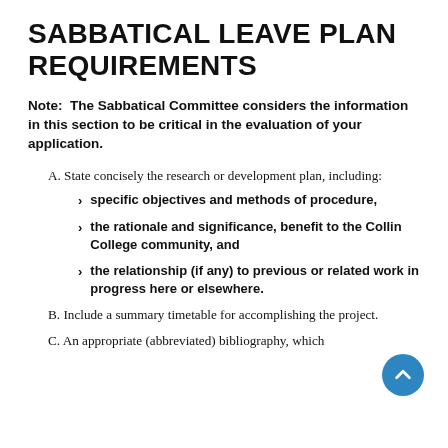SABBATICAL LEAVE PLAN REQUIREMENTS
Note:  The Sabbatical Committee considers the information in this section to be critical in the evaluation of your application.
A. State concisely the research or development plan, including:
specific objectives and methods of procedure,
the rationale and significance, benefit to the Collin College community, and
the relationship (if any) to previous or related work in progress here or elsewhere.
B. Include a summary timetable for accomplishing the project.
C. An appropriate (abbreviated) bibliography, which